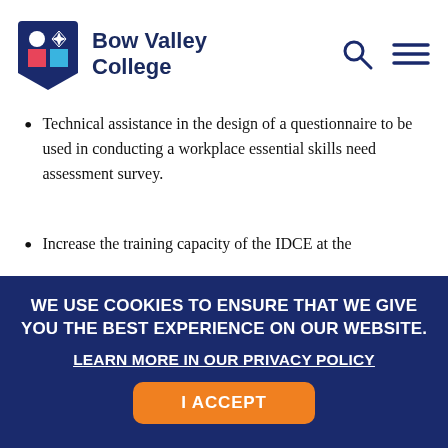Bow Valley College
Technical assistance in the design of a questionnaire to be used in conducting a workplace essential skills need assessment survey.
Increase the training capacity of the IDCE at the
WE USE COOKIES TO ENSURE THAT WE GIVE YOU THE BEST EXPERIENCE ON OUR WEBSITE.
LEARN MORE IN OUR PRIVACY POLICY
I ACCEPT